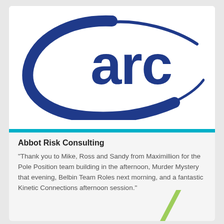[Figure (logo): ARC logo — large blue oval with stylized arc shape and lowercase 'arc' text in dark blue]
Abbot Risk Consulting
"Thank you to Mike, Ross and Sandy from Maximillion for the Pole Position team building in the afternoon, Murder Mystery that evening, Belbin Team Roles next morning, and a fantastic Kinetic Connections afternoon session."
[Figure (illustration): Partial green diagonal swoosh/stripe visible at bottom of page]